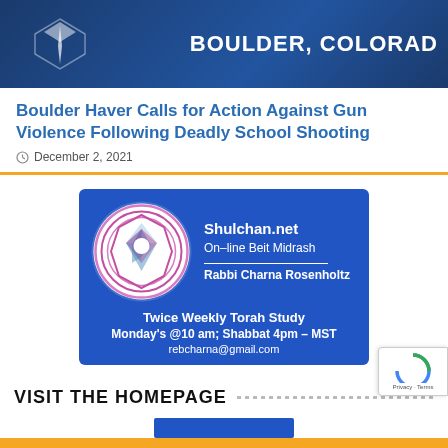[Figure (photo): Dark blue banner image with white text 'BOULDER, COLORADO' and a downward pointing chevron/arrow logo on the left]
Boulder Haver Calls for Action Against Gun Violence Following Deadly School Shooting
December 2, 2021
[Figure (illustration): Advertisement for Shulchan.net - Online Beit Midrash by Rabbi Charna Rosenholtz. Twice Weekly Torah Study Monday's @10 am; Shabbat 4pm - MST. rebcharna@gmail.com. Blue background with circular Star of David geometric logo.]
VISIT THE HOMEPAGE